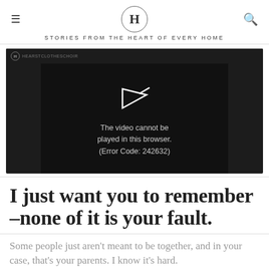H — STORIES FROM THE HEART OF EVERY HOME
[Figure (screenshot): Video player showing error message: The video cannot be played in this browser. (Error Code: 242632)]
I just want you to remember –none of it is your fault.
Some people just aren't meant to be together, and in your case, that's your parents. I know it's hard.